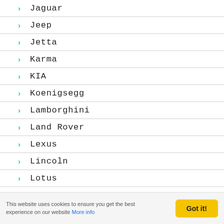Jaguar
Jeep
Jetta
Karma
KIA
Koenigsegg
Lamborghini
Land Rover
Lexus
Lincoln
Lotus
M-Sport
This website uses cookies to ensure you get the best experience on our website More info